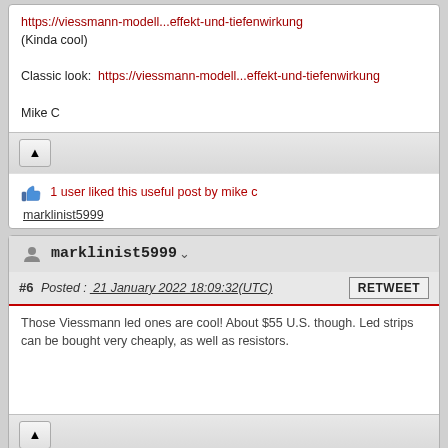https://viessmann-modell...effekt-und-tiefenwirkung
(Kinda cool)

Classic look:  https://viessmann-modell...effekt-und-tiefenwirkung

Mike C
1 user liked this useful post by mike c
marklinist5999
marklinist5999
#6  Posted :  21 January 2022 18:09:32(UTC)
Those Viessmann led ones are cool! About $55 U.S. though. Led strips can be bought very cheaply, as well as resistors.